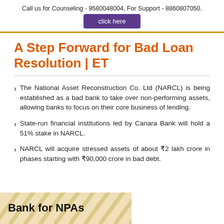Call us for Counseling - 9580048004, For Support - 8860807050.
click here
A Step Forward for Bad Loan Resolution | ET
The National Asset Reconstruction Co. Ltd (NARCL) is being established as a bad bank to take over non-performing assets, allowing banks to focus on their core business of lending.
State-run financial institutions led by Canara Bank will hold a 51% stake in NARCL.
NARCL will acquire stressed assets of about ₹2 lakh crore in phases starting with ₹90,000 crore in bad debt.
[Figure (illustration): A banner graphic with text 'Bank for NPAs' with a decorative diagonal striped background in beige/tan tones]